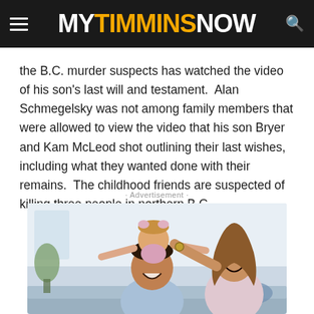MY TIMMINS NOW
the B.C. murder suspects has watched the video of his son's last will and testament.  Alan Schmegelsky was not among family members that were allowed to view the video that his son Bryer and Kam McLeod shot outlining their last wishes, including what they wanted done with their remains.  The childhood friends are suspected of killing three people in northern B.C.
· Advertisement ·
[Figure (photo): Stock photo advertisement showing a happy family — a father laughing with a young girl on his shoulders, and a smiling mother behind them, in a bright living room setting.]